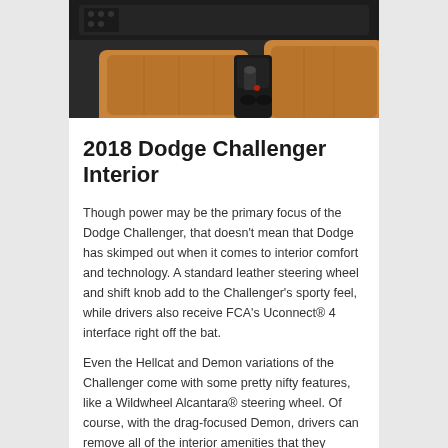[Figure (photo): Interior view of a 2018 Dodge Challenger showing tan/caramel leather seats, center console, and dashboard]
2018 Dodge Challenger Interior
Though power may be the primary focus of the Dodge Challenger, that doesn't mean that Dodge has skimped out when it comes to interior comfort and technology. A standard leather steering wheel and shift knob add to the Challenger's sporty feel, while drivers also receive FCA's Uconnect® 4 interface right off the bat.
Even the Hellcat and Demon variations of the Challenger come with some pretty nifty features, like a Wildwheel Alcantara® steering wheel. Of course, with the drag-focused Demon, drivers can remove all of the interior amenities that they